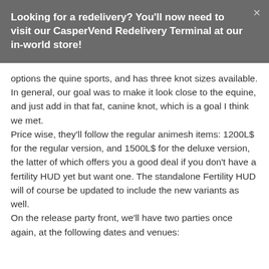Looking for a redelivery? You'll now need to visit our CasperVend Redelivery Terminal at our in-world store!
options the quine sports, and has three knot sizes available. In general, our goal was to make it look close to the equine, and just add in that fat, canine knot, which is a goal I think we met.
Price wise, they'll follow the regular animesh items: 1200L$ for the regular version, and 1500L$ for the deluxe version, the latter of which offers you a good deal if you don't have a fertility HUD yet but want one. The standalone Fertility HUD will of course be updated to include the new variants as well.
On the release party front, we'll have two parties once again, at the following dates and venues: